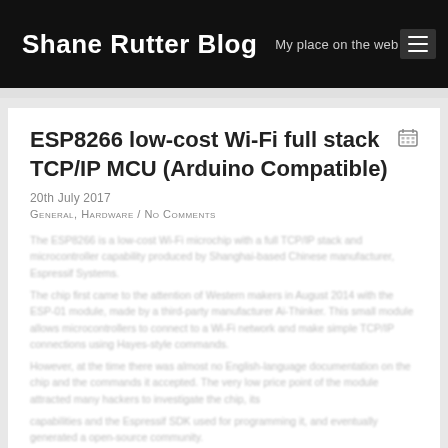Shane Rutter Blog — My place on the web
ESP8266 low-cost Wi-Fi full stack TCP/IP MCU (Arduino Compatible)
20th July 2017
General, Hardware / No Comments
[body text paragraphs — partially obscured/blurred]
Continue reading